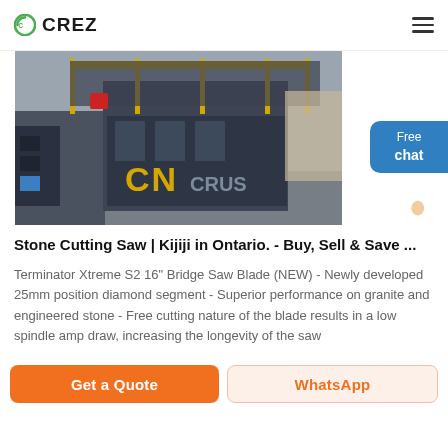CREZ
[Figure (photo): Industrial stone crushing/cutting machine with CN branding, yellow safety railings, dark grey machinery, CRUSH text visible]
Stone Cutting Saw | Kijiji in Ontario. - Buy, Sell & Save ...
Terminator Xtreme S2 16" Bridge Saw Blade (NEW) - Newly developed 25mm position diamond segment - Superior performance on granite and engineered stone - Free cutting nature of the blade results in a low spindle amp draw, increasing the longevity of the saw